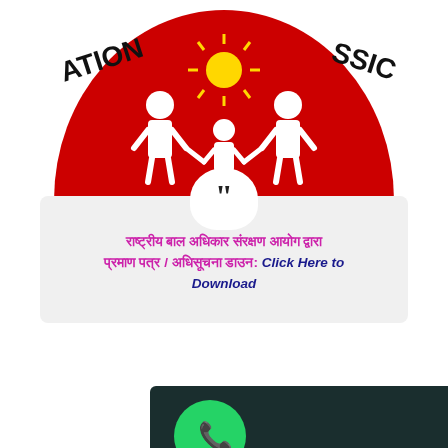[Figure (logo): National Commission logo — red semicircle with white family figures (adult, child, adult) and a sun, with text 'NATIONAL COMMISSION' around the arc]
राष्ट्रीय बाल अधिकार संरक्षण आयोग द्वारा प्रमाण पत्र / अधिसूचना डाउन: Click Here to Download
[Figure (screenshot): WhatsApp interface screenshot showing a green WhatsApp phone icon on a dark background]